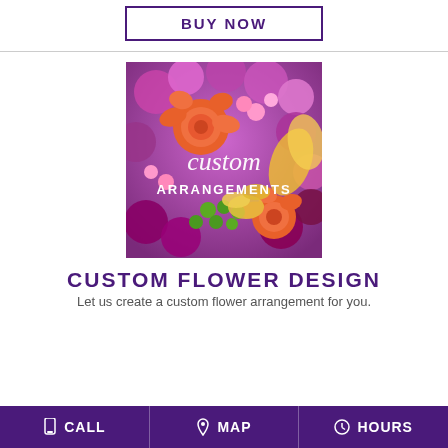BUY NOW
[Figure (photo): Colorful custom flower arrangement with orange roses, purple and pink flowers, green berries, with text overlay 'custom ARRANGEMENTS']
CUSTOM FLOWER DESIGN
Let us create a custom flower arrangement for you.
CALL  MAP  HOURS